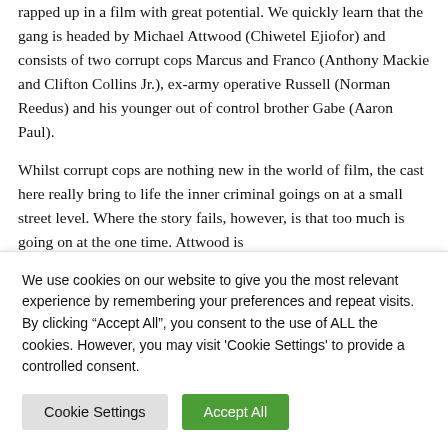rapped up in a film with great potential. We quickly learn that the gang is headed by Michael Attwood (Chiwetel Ejiofor) and consists of two corrupt cops Marcus and Franco (Anthony Mackie and Clifton Collins Jr.), ex-army operative Russell (Norman Reedus) and his younger out of control brother Gabe (Aaron Paul).
Whilst corrupt cops are nothing new in the world of film, the cast here really bring to life the inner criminal goings on at a small street level. Where the story fails, however, is that too much is going on at the one time. Attwood is
We use cookies on our website to give you the most relevant experience by remembering your preferences and repeat visits. By clicking "Accept All", you consent to the use of ALL the cookies. However, you may visit 'Cookie Settings' to provide a controlled consent.